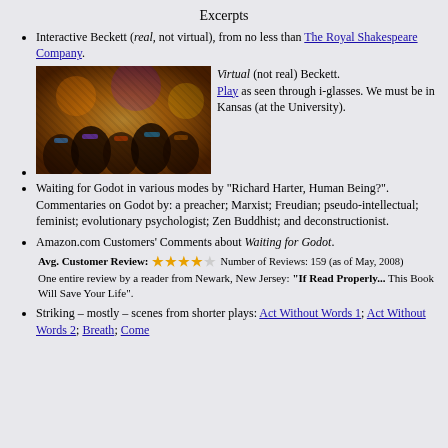Excerpts
Interactive Beckett (real, not virtual), from no less than The Royal Shakespeare Company.
[Figure (photo): Audience members wearing 3D glasses, photographed in a dark theater with colorful lighting]
Virtual (not real) Beckett. Play as seen through i-glasses. We must be in Kansas (at the University).
Waiting for Godot in various modes by "Richard Harter, Human Being?". Commentaries on Godot by: a preacher; Marxist; Freudian; pseudo-intellectual; feminist; evolutionary psychologist; Zen Buddhist; and deconstructionist.
Amazon.com Customers' Comments about Waiting for Godot. Avg. Customer Review: 4 stars. Number of Reviews: 159 (as of May, 2008). One entire review by a reader from Newark, New Jersey: "If Read Properly... This Book Will Save Your Life".
Striking – mostly – scenes from shorter plays: Act Without Words 1; Act Without Words 2; Breath; Come and Go...